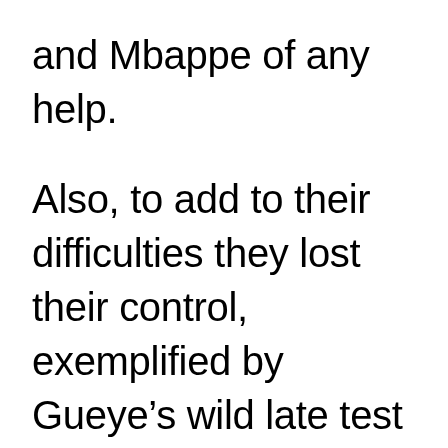and Mbappe of any help.
Also, to add to their difficulties they lost their control, exemplified by Gueye’s wild late test on Gundogan which made a red card a custom.